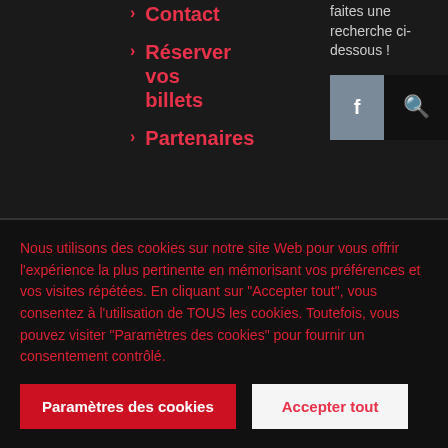> Contact
> Réserver vos billets
> Partenaires
faites une recherche ci-dessous !
[Figure (other): Two icon buttons: a grey Facebook icon box with 'f' letter, and a dark search icon box with magnifying glass]
Nous utilisons des cookies sur notre site Web pour vous offrir l'expérience la plus pertinente en mémorisant vos préférences et vos visites répétées. En cliquant sur "Accepter tout", vous consentez à l'utilisation de TOUS les cookies. Toutefois, vous pouvez visiter "Paramètres des cookies" pour fournir un consentement contrôlé.
Paramètres des cookies
Accepter tout